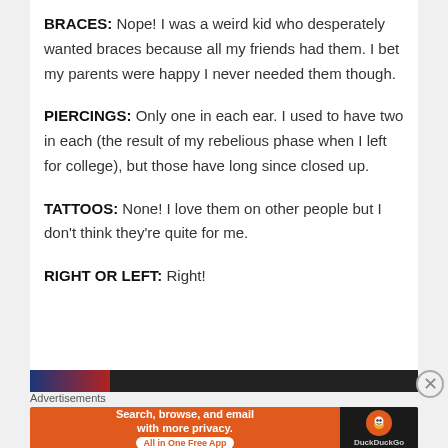BRACES: Nope!  I was a weird kid who desperately wanted braces because all my friends had them.  I bet my parents were happy I never needed them though.
PIERCINGS: Only one in each ear.  I used to have two in each (the result of my rebelious phase when I left for college), but those have long since closed up.
TATTOOS: None!  I love them on other people but I don't think they're quite for me.
RIGHT OR LEFT: Right!
[Figure (photo): A dark horizontal image strip partially visible at the bottom of the content area.]
Advertisements
[Figure (other): DuckDuckGo advertisement banner: 'Search, browse, and email with more privacy. All in One Free App' with DuckDuckGo logo on dark right side.]